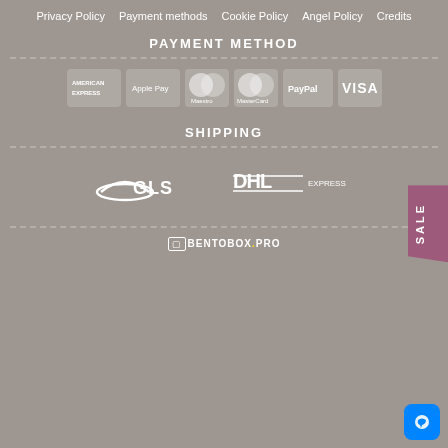Privacy Policy   Payment methods   Cookie Policy   Angel Policy   Credits
PAYMENT METHOD
[Figure (logo): Payment method logos: American Express, Apple Pay, Maestro, MasterCard, PayPal, VISA]
SHIPPING
[Figure (logo): Shipping logos: GLS and DHL Express]
BENTOBOX.PRO